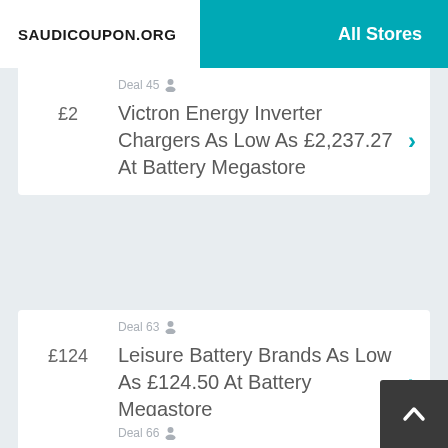SAUDICOUPON.ORG | All Stores
Deal 45
£2
Victron Energy Inverter Chargers As Low As £2,237.27 At Battery Megastore
Deal 63
£124
Leisure Battery Brands As Low As £124.50 At Battery Megastore
Deal 66